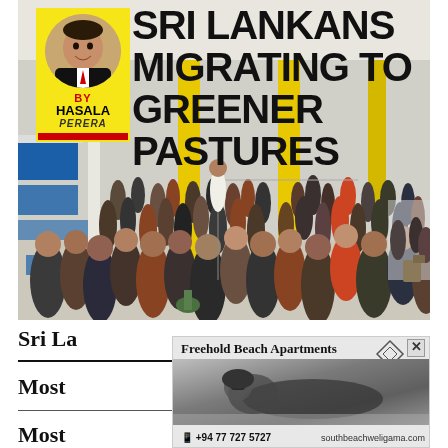[Figure (photo): Airport departure hall crowded with people queuing, with blue check-in counters on the left and yellow pillars. Author badge with photo of Hasala Perera in yellow box overlaid on top-left. Headline 'SRI LANKANS MIGRATING TO GREENER PASTURES' in bold black text overlaid on top-right.]
Sri Lankans Migrating to Greener Pastures
[Figure (photo): Advertisement: Freehold Beach Apartments - black and white photo of woman on beach, phone +94 77 727 5727, southbeachweligama.com]
Most ... Hired in ...